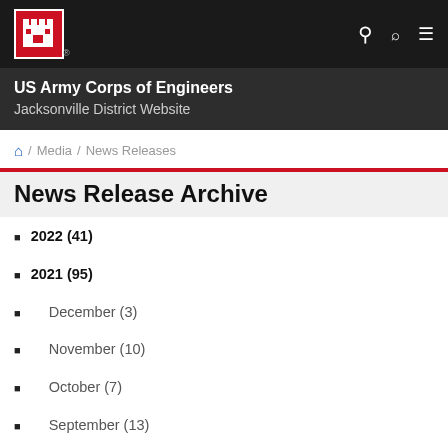US Army Corps of Engineers Jacksonville District Website
Home / Media / News Releases
News Release Archive
2022 (41)
2021 (95)
December (3)
November (10)
October (7)
September (13)
August (10)
July (8)
June (5)
May (5)